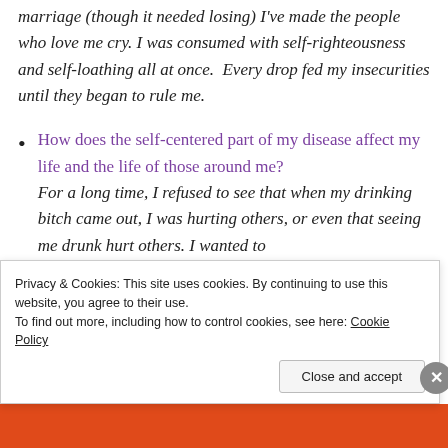marriage (though it needed losing) I've made the people who love me cry. I was consumed with self-righteousness and self-loathing all at once.  Every drop fed my insecurities until they began to rule me.
How does the self-centered part of my disease affect my life and the life of those around me? For a long time, I refused to see that when my drinking bitch came out, I was hurting others, or even that seeing me drunk hurt others. I wanted to
Privacy & Cookies: This site uses cookies. By continuing to use this website, you agree to their use.
To find out more, including how to control cookies, see here: Cookie Policy
Close and accept